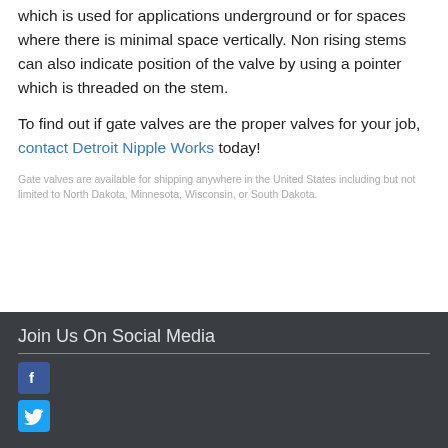which is used for applications underground or for spaces where there is minimal space vertically. Non rising stems can also indicate position of the valve by using a pointer which is threaded on the stem.
To find out if gate valves are the proper valves for your job, contact Detroit Nipple Works today!
Gate valves are available for shipping anywhere in the United States including but not limited to North Dakota, Minnesota, Wisconsin, or South Dakota.
Join Us On Social Media
[Figure (logo): Facebook logo icon - white F on blue square background]
[Figure (logo): Twitter logo icon - white bird on blue square background]